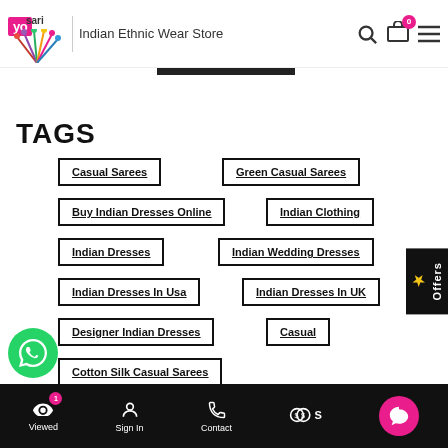YoSari | Indian Ethnic Wear Store
TAGS
Casual Sarees
Green Casual Sarees
Buy Indian Dresses Online
Indian Clothing
Indian Dresses
Indian Wedding Dresses
Indian Dresses In Usa
Indian Dresses In UK
Designer Indian Dresses
Casual
Cotton Silk Casual Sarees
Viewed | Sign In | Contact | $ | Chat